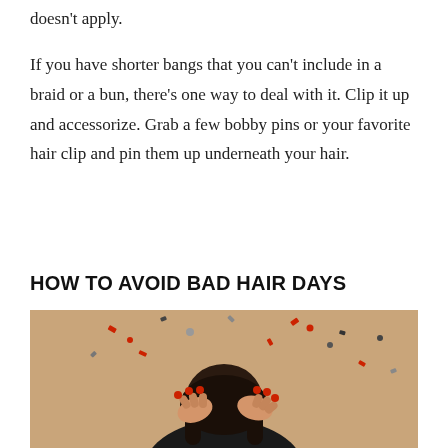doesn't apply.
If you have shorter bangs that you can't include in a braid or a bun, there's one way to deal with it. Clip it up and accessorize. Grab a few bobby pins or your favorite hair clip and pin them up underneath your hair.
HOW TO AVOID BAD HAIR DAYS
[Figure (photo): A person with dark hair bowing their head and holding their hair with both hands, with colorful confetti scattered around them, against a tan/beige background.]